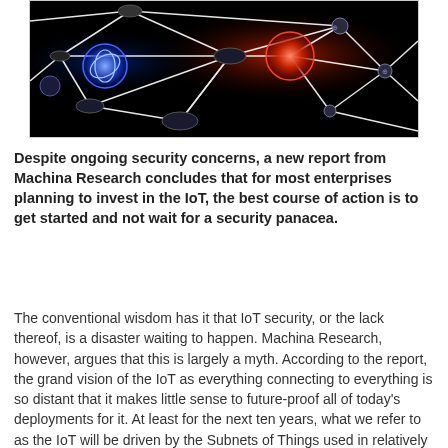[Figure (illustration): Network/IoT visualization image showing interconnected nodes with glowing blue and red circular nodes connected by white lines on a dark/black background, suggesting a network topology.]
Despite ongoing security concerns, a new report from Machina Research concludes that for most enterprises planning to invest in the IoT, the best course of action is to get started and not wait for a security panacea.
The conventional wisdom has it that IoT security, or the lack thereof, is a disaster waiting to happen. Machina Research, however, argues that this is largely a myth. According to the report, the grand vision of the IoT as everything connecting to everything is so distant that it makes little sense to future-proof all of today's deployments for it. At least for the next ten years, what we refer to as the IoT will be driven by the Subnets of Things used in relatively controlled settings. Most of today's security requirements can be met incrementally, with proper planning and already available solutions.